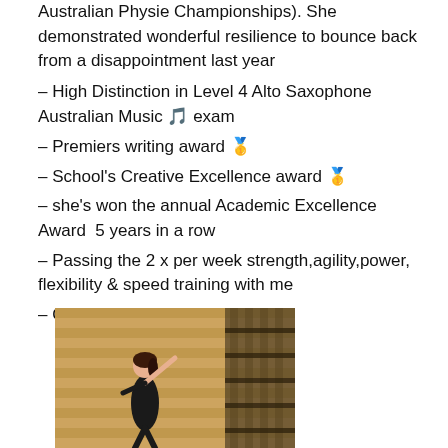Australian Physie Championships). She demonstrated wonderful resilience to bounce back from a disappointment last year
– High Distinction in Level 4 Alto Saxophone Australian Music 🎵 exam
– Premiers writing award 🥇
– School's Creative Excellence award 🥇
– she's won the annual Academic Excellence Award  5 years in a row
– Passing the 2 x per week strength,agility,power, flexibility & speed training with me
– Other
[Figure (photo): A young girl in a black leotard performing a dance or gymnastics move in a gymnasium with wooden floor and wall bars in the background]